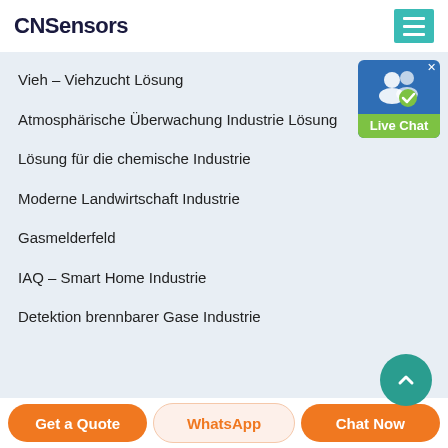CNSensors
Vieh – Viehzucht Lösung
Atmosphärische Überwachung Industrie Lösung
Lösung für die chemische Industrie
Moderne Landwirtschaft Industrie
Gasmelderfeld
IAQ – Smart Home Industrie
Detektion brennbarer Gase Industrie
[Figure (illustration): Live Chat widget with blue background, user icon, and green 'Live Chat' label]
[Figure (illustration): Teal circular scroll-to-top button at bottom right]
Get a Quote
WhatsApp
Chat Now